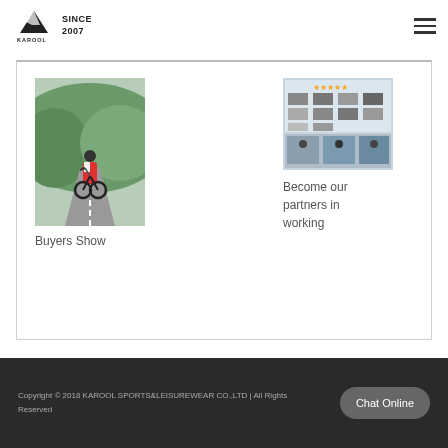KAROOL SINCE 2007
[Figure (photo): Cyclist riding on road with green hillside background]
Buyers Show
[Figure (photo): Collage showing cycling gear products and cyclists]
Become our partners in working
Copyright © 2018 KAROOL SPORTS&LEISUREWEAR CO.,LTD | All Rights Reserved